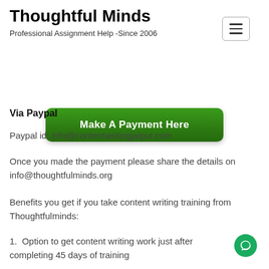Thoughtful Minds
Professional Assignment Help -Since 2006
[Figure (other): Hamburger menu button icon (three horizontal lines in a rounded rectangle border)]
[Figure (other): Green rounded button labeled 'Make A Payment Here']
Via Paypal
Paypal id: info@contentwritingjaipur.com
Once you made the payment please share the details on info@thoughtfulminds.org
Benefits you get if you take content writing training from Thoughtfulminds:
Option to get content writing work just after completing 45 days of training